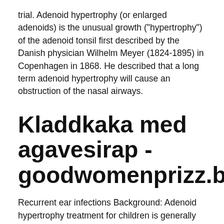trial. Adenoid hypertrophy (or enlarged adenoids) is the unusual growth ("hypertrophy") of the adenoid tonsil first described by the Danish physician Wilhelm Meyer (1824-1895) in Copenhagen in 1868. He described that a long term adenoid hypertrophy will cause an obstruction of the nasal airways.
Kladdkaka med agavesirap - goodwomenprizz.be
Recurrent ear infections Background: Adenoid hypertrophy treatment for children is generally planned in accordance with the degree of airway